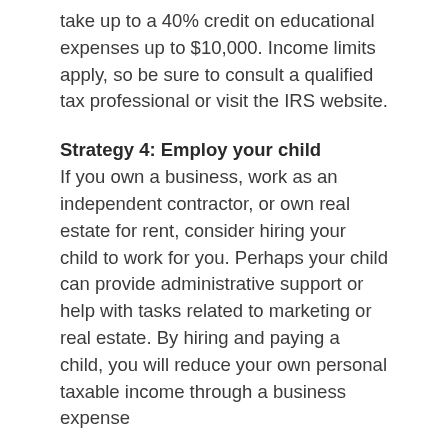take up to a 40% credit on educational expenses up to $10,000. Income limits apply, so be sure to consult a qualified tax professional or visit the IRS website.
Strategy 4: Employ your child
If you own a business, work as an independent contractor, or own real estate for rent, consider hiring your child to work for you. Perhaps your child can provide administrative support or help with tasks related to marketing or real estate. By hiring and paying a child, you will reduce your own personal taxable income through a business expense